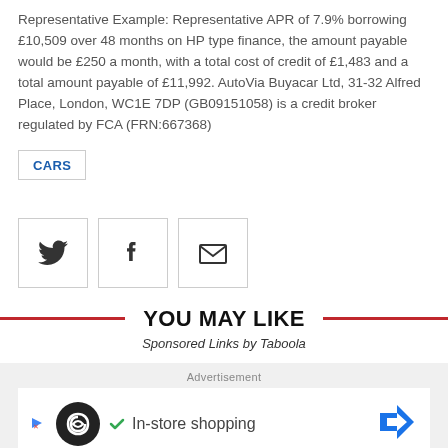Representative Example: Representative APR of 7.9% borrowing £10,509 over 48 months on HP type finance, the amount payable would be £250 a month, with a total cost of credit of £1,483 and a total amount payable of £11,992. AutoVia Buyacar Ltd, 31-32 Alfred Place, London, WC1E 7DP (GB09151058) is a credit broker regulated by FCA (FRN:667368)
CARS
[Figure (other): Three social sharing icon buttons in square outlines: Twitter bird icon, Facebook f icon, and email envelope icon]
YOU MAY LIKE
Sponsored Links by Taboola
[Figure (other): Advertisement banner showing an app icon (dark circle with infinity-like loop symbol), a checkmark with 'In-store shopping' text, and a blue diamond navigation arrow icon]